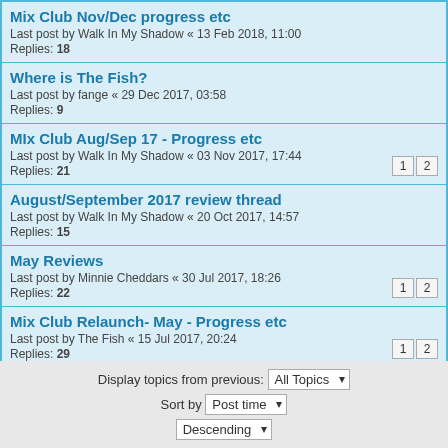Mix Club Nov/Dec progress etc
Last post by Walk In My Shadow « 13 Feb 2018, 11:00
Replies: 18
Where is The Fish?
Last post by fange « 29 Dec 2017, 03:58
Replies: 9
MIx Club Aug/Sep 17 - Progress etc
Last post by Walk In My Shadow « 03 Nov 2017, 17:44
Replies: 21
August/September 2017 review thread
Last post by Walk In My Shadow « 20 Oct 2017, 14:57
Replies: 15
May Reviews
Last post by Minnie Cheddars « 30 Jul 2017, 18:26
Replies: 22
Mix Club Relaunch- May - Progress etc
Last post by The Fish « 15 Jul 2017, 20:24
Replies: 29
Nov/Dec 16 Reviews
Last post by Walk In My Shadow « 16 Apr 2017, 21:31
Replies: 11
Mix Club Nov/Dec 16 - Progress etc
Last post by Walk In My Shadow « 17 Feb 2017, 21:20
Replies: 17
Display topics from previous: All Topics
Sort by Post time
Descending